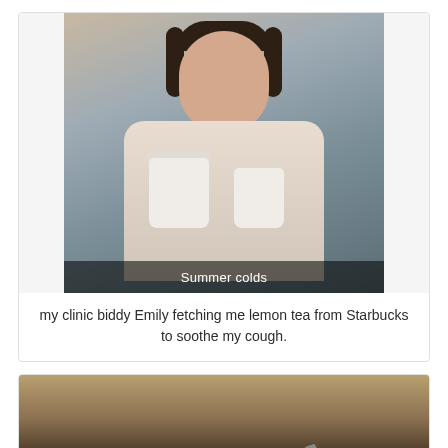[Figure (photo): A young woman holding two white Starbucks cups with a sad/sick expression, wearing a floral top. A Snapchat caption bar reads 'Summer colds'.]
my clinic biddy Emily fetching me lemon tea from Starbucks to soothe my cough.
[Figure (photo): A cast iron pan on a stove with food cooking, viewed from above.]